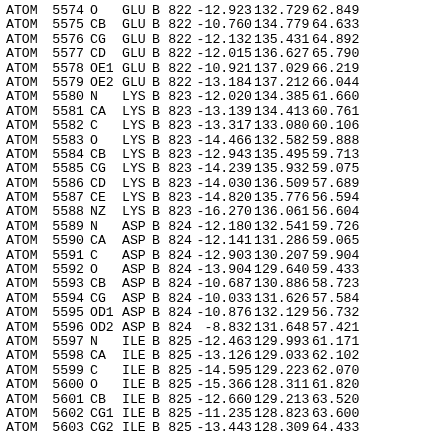| Record | Serial | Name | ResName | Chain | ResSeq | X | Y | Z |  |
| --- | --- | --- | --- | --- | --- | --- | --- | --- | --- |
| ATOM | 5574 | O | GLU | B | 822 | -12.923 | 132.729 | 62.849 |  |
| ATOM | 5575 | CB | GLU | B | 822 | -10.760 | 134.779 | 64.633 |  |
| ATOM | 5576 | CG | GLU | B | 822 | -12.132 | 135.431 | 64.892 |  |
| ATOM | 5577 | CD | GLU | B | 822 | -12.015 | 136.627 | 65.790 |  |
| ATOM | 5578 | OE1 | GLU | B | 822 | -10.921 | 137.029 | 66.219 |  |
| ATOM | 5579 | OE2 | GLU | B | 822 | -13.184 | 137.212 | 66.044 |  |
| ATOM | 5580 | N | LYS | B | 823 | -12.020 | 134.385 | 61.660 |  |
| ATOM | 5581 | CA | LYS | B | 823 | -13.139 | 134.413 | 60.761 |  |
| ATOM | 5582 | C | LYS | B | 823 | -13.317 | 133.080 | 60.106 |  |
| ATOM | 5583 | O | LYS | B | 823 | -14.466 | 132.582 | 59.888 |  |
| ATOM | 5584 | CB | LYS | B | 823 | -12.943 | 135.495 | 59.713 |  |
| ATOM | 5585 | CG | LYS | B | 823 | -14.239 | 135.932 | 59.075 |  |
| ATOM | 5586 | CD | LYS | B | 823 | -14.030 | 136.509 | 57.689 |  |
| ATOM | 5587 | CE | LYS | B | 823 | -14.820 | 135.776 | 56.594 |  |
| ATOM | 5588 | NZ | LYS | B | 823 | -16.270 | 136.061 | 56.604 |  |
| ATOM | 5589 | N | ASP | B | 824 | -12.180 | 132.541 | 59.726 |  |
| ATOM | 5590 | CA | ASP | B | 824 | -12.141 | 131.286 | 59.065 |  |
| ATOM | 5591 | C | ASP | B | 824 | -12.903 | 130.207 | 59.904 |  |
| ATOM | 5592 | O | ASP | B | 824 | -13.904 | 129.640 | 59.433 |  |
| ATOM | 5593 | CB | ASP | B | 824 | -10.687 | 130.886 | 58.723 |  |
| ATOM | 5594 | CG | ASP | B | 824 | -10.033 | 131.626 | 57.584 |  |
| ATOM | 5595 | OD1 | ASP | B | 824 | -10.876 | 132.129 | 56.732 |  |
| ATOM | 5596 | OD2 | ASP | B | 824 | -8.832 | 131.648 | 57.421 |  |
| ATOM | 5597 | N | ILE | B | 825 | -12.463 | 129.993 | 61.171 |  |
| ATOM | 5598 | CA | ILE | B | 825 | -13.126 | 129.033 | 62.102 |  |
| ATOM | 5599 | C | ILE | B | 825 | -14.595 | 129.223 | 62.070 |  |
| ATOM | 5600 | O | ILE | B | 825 | -15.366 | 128.311 | 61.820 |  |
| ATOM | 5601 | CB | ILE | B | 825 | -12.660 | 129.213 | 63.520 |  |
| ATOM | 5602 | CG1 | ILE | B | 825 | -11.235 | 128.823 | 63.600 |  |
| ATOM | 5603 | CG2 | ILE | B | 825 | -13.443 | 128.309 | 64.433 |  |